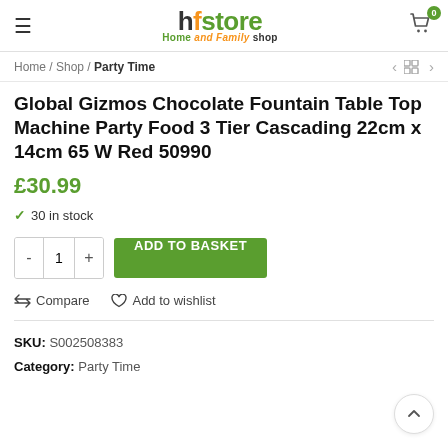hfstore Home and Family Shop
Home / Shop / Party Time
Global Gizmos Chocolate Fountain Table Top Machine Party Food 3 Tier Cascading 22cm x 14cm 65 W Red 50990
£30.99
30 in stock
ADD TO BASKET
Compare   Add to wishlist
SKU: S002508383
Category: Party Time